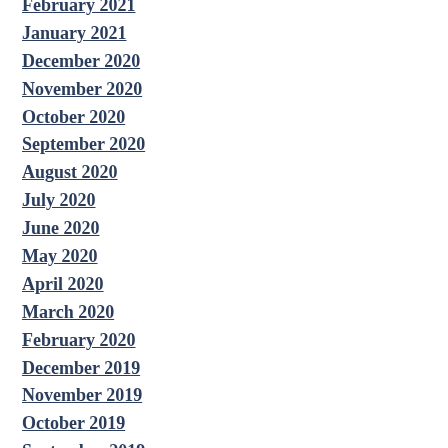February 2021
January 2021
December 2020
November 2020
October 2020
September 2020
August 2020
July 2020
June 2020
May 2020
April 2020
March 2020
February 2020
December 2019
November 2019
October 2019
September 2019
August 2019
July 2019